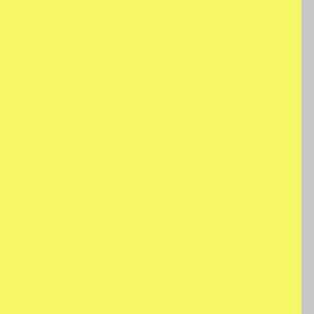you can "play" by simply using the books to randomly generate characters, star